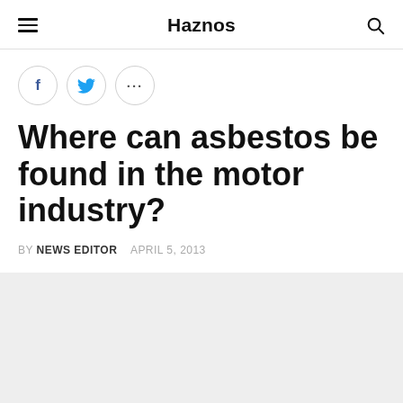Haznos
[Figure (other): Social share buttons: Facebook (f), Twitter (bird), and more options (...)]
Where can asbestos be found in the motor industry?
BY NEWS EDITOR   APRIL 5, 2013